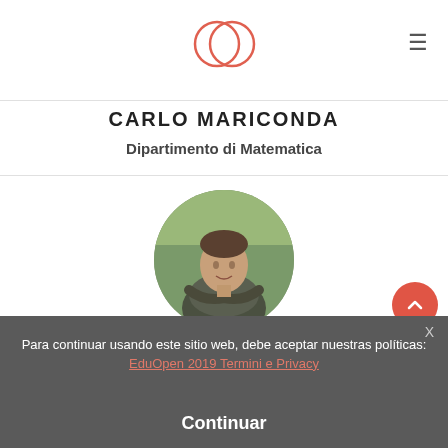[Figure (logo): EduOpen logo — two overlapping circles in salmon/coral color]
CARLO MARICONDA
Dipartimento di Matematica
[Figure (photo): Circular profile photo of Alberto Tonolo, a man sitting outdoors on grass with arms crossed, wearing a dark shirt]
ALBERTO TONOLO
Dipartimento di Matematica
Para continuar usando este sitio web, debe aceptar nuestras políticas: EduOpen 2019 Termini e Privacy
Continuar